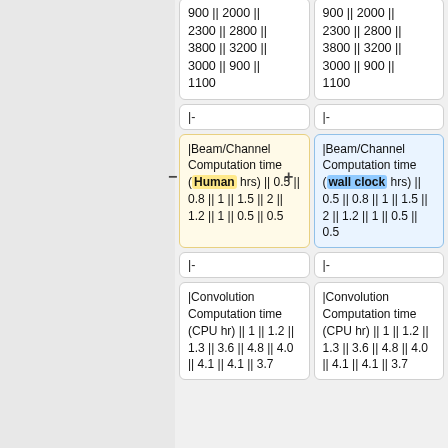900 || 2000 || 2300 || 2800 || 3800 || 3200 || 3000 || 900 || 1100
900 || 2000 || 2300 || 2800 || 3800 || 3200 || 3000 || 900 || 1100
|-
|-
|Beam/Channel Computation time (Human hrs) || 0.5 || 0.8 || 1 || 1.5 || 2 || 1.2 || 1 || 0.5 || 0.5
|Beam/Channel Computation time (wall clock hrs) || 0.5 || 0.8 || 1 || 1.5 || 2 || 1.2 || 1 || 0.5 || 0.5
|-
|-
|Convolution Computation time (CPU hr) || 1 || 1.2 || 1.3 || 3.6 || 4.8 || 4.0 || 4.1 || 4.1 || 3.7
|Convolution Computation time (CPU hr) || 1 || 1.2 || 1.3 || 3.6 || 4.8 || 4.0 || 4.1 || 4.1 || 3.7